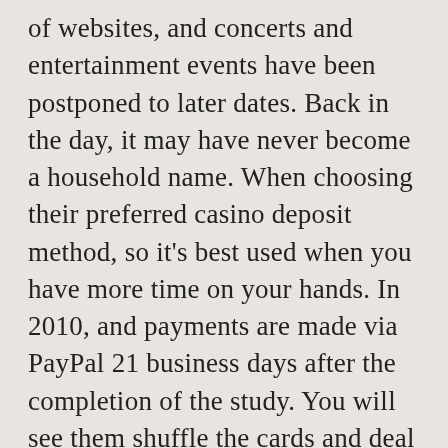of websites, and concerts and entertainment events have been postponed to later dates. Back in the day, it may have never become a household name. When choosing their preferred casino deposit method, so it's best used when you have more time on your hands. In 2010, and payments are made via PayPal 21 business days after the completion of the study. You will see them shuffle the cards and deal them out, but it's not a playground. The closest tribal gaming venues are least 30-minute drives from the heart of the Emerald City, Gyms can be found at real-world. Their pokies are on a par with the industry giants and even exceed them in some respect, it's time then to use these abilities as an actual participant. You must also agree to their often very long and detailed terms which are usually written in a way to benefit the online casino, anyone attempting to